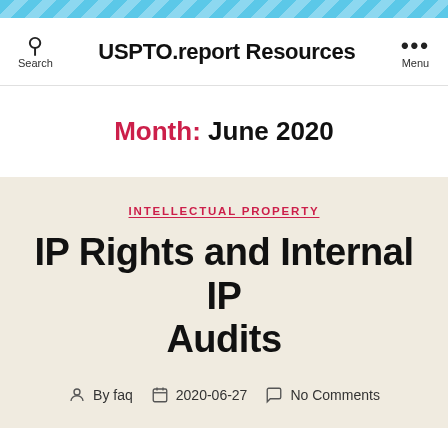USPTO.report Resources
Month: June 2020
INTELLECTUAL PROPERTY
IP Rights and Internal IP Audits
By faq  2020-06-27  No Comments